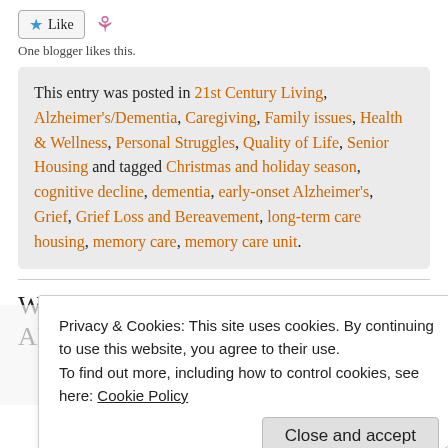[Figure (other): Like button with star icon and pink ribbon icon]
One blogger likes this.
This entry was posted in 21st Century Living, Alzheimer's/Dementia, Caregiving, Family issues, Health & Wellness, Personal Struggles, Quality of Life, Senior Housing and tagged Christmas and holiday season, cognitive decline, dementia, early-onset Alzheimer's, Grief, Grief Loss and Bereavement, long-term care housing, memory care, memory care unit.
When the Mind Says Goodbye – Alzheimer's
Privacy & Cookies: This site uses cookies. By continuing to use this website, you agree to their use. To find out more, including how to control cookies, see here: Cookie Policy
Close and accept